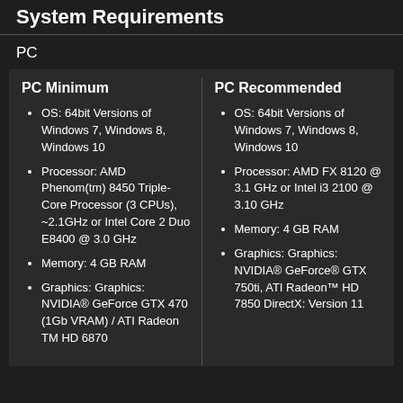System Requirements
PC
PC Minimum
OS: 64bit Versions of Windows 7, Windows 8, Windows 10
Processor: AMD Phenom(tm) 8450 Triple-Core Processor (3 CPUs), ~2.1GHz or Intel Core 2 Duo E8400 @ 3.0 GHz
Memory: 4 GB RAM
Graphics: Graphics: NVIDIA® GeForce GTX 470 (1Gb VRAM) / ATI Radeon TM HD 6870
PC Recommended
OS: 64bit Versions of Windows 7, Windows 8, Windows 10
Processor: AMD FX 8120 @ 3.1 GHz or Intel i3 2100 @ 3.10 GHz
Memory: 4 GB RAM
Graphics: Graphics: NVIDIA® GeForce® GTX 750ti, ATI Radeon™ HD 7850 DirectX: Version 11